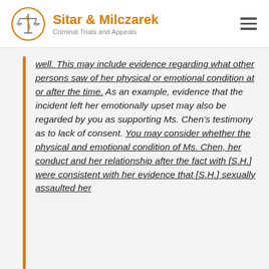Sitar & Milczarek | Criminal Trials and Appeals
well. This may include evidence regarding what other persons saw of her physical or emotional condition at or after the time. As an example, evidence that the incident left her emotionally upset may also be regarded by you as supporting Ms. Chen’s testimony as to lack of consent. You may consider whether the physical and emotional condition of Ms. Chen, her conduct and her relationship after the fact with [S.H.] were consistent with her evidence that [S.H.] sexually assaulted her